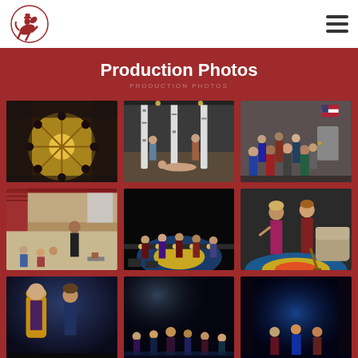School logo and navigation menu
Production Photos
[Figure (photo): Group of students in costume viewed from above, circular formation around a yellow wheel/compass design]
[Figure (photo): Students in a theater rehearsal scene, one lying on the floor, others around birch tree set pieces]
[Figure (photo): Large group of students backstage, crowded together in a room with an American flag visible]
[Figure (photo): Theater rehearsal in a school hallway/gym, director standing, students on floor with props]
[Figure (photo): Students performing on a stage with footlights visible, dark stage with spotlight]
[Figure (photo): Two students on stage, one with a cane, colorful painted floor design visible]
[Figure (photo): Two students in costume, one with long blonde hair, dramatic pose]
[Figure (photo): Group of students on a dark stage, curtain call or group scene]
[Figure (photo): Students on stage in dark lighting with blue spotlight effects]